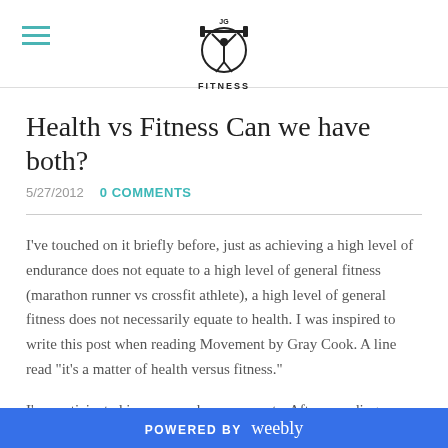JG FITNESS (logo with hamburger menu)
Health vs Fitness Can we have both?
5/27/2012   0 COMMENTS
I've touched on it briefly before, just as achieving a high level of endurance does not equate to a high level of general fitness (marathon runner vs crossfit athlete), a high level of general fitness does not necessarily equate to health.  I was inspired to write this post when reading Movement by Gray Cook.  A line read "it's a matter of health versus fitness."
I've participated in many endurance events.  After spending so much time running long and slow I realized I was pretty shitty at short and fast/heavy and I questioned my fitness.  I used to think being fit meant something, fast really did. Then while
POWERED BY weebly